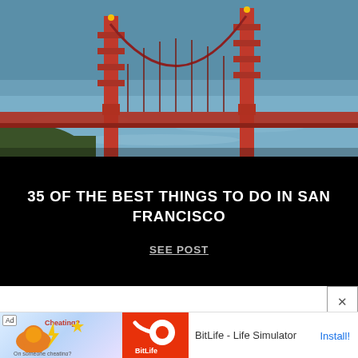[Figure (photo): Photo of the Golden Gate Bridge in San Francisco with red towers and blue water visible]
35 OF THE BEST THINGS TO DO IN SAN FRANCISCO
SEE POST
[Figure (infographic): Advertisement banner for BitLife - Life Simulator app with Ad badge, muscle flexing icon, orange-red panel with sperm app logo, app name text, and Install! button]